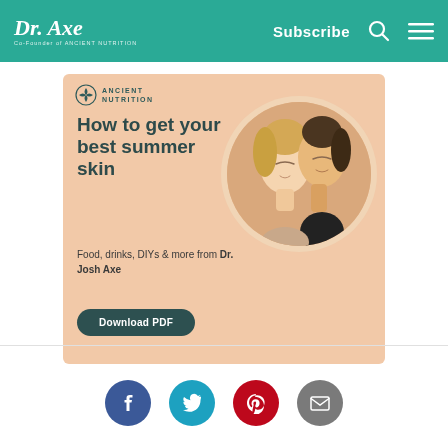Dr. Axe — Co-Founder of Ancient Nutrition | Subscribe
[Figure (infographic): Ancient Nutrition advertisement banner with headline 'How to get your best summer skin', subtext 'Food, drinks, DIYs & more from Dr. Josh Axe', Download PDF button, and photo of two women with eyes closed]
[Figure (infographic): Social share icons row: Facebook, Twitter, Pinterest, Email]